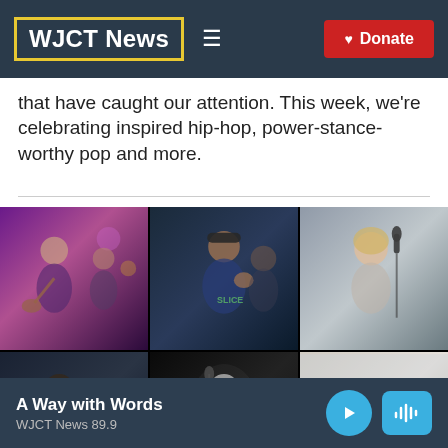WJCT News
that have caught our attention. This week, we're celebrating inspired hip-hop, power-stance-worthy pop and more.
[Figure (photo): A 2x3 grid of six music performance photos showing various musicians playing guitar, rapping, singing at a microphone, playing keyboard, playing guitar in black and white, and a group band session.]
A Way with Words
WJCT News 89.9